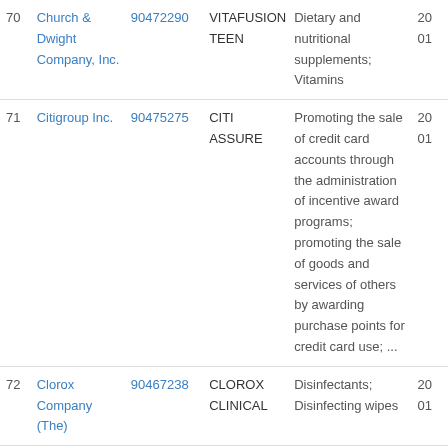| # | Company | Serial No. | Mark | Goods/Services | Date |
| --- | --- | --- | --- | --- | --- |
| 70 | Church & Dwight Company, Inc. | 90472290 | VITAFUSION TEEN | Dietary and nutritional supplements; Vitamins | 20... 01... |
| 71 | Citigroup Inc. | 90475275 | CITI ASSURE | Promoting the sale of credit card accounts through the administration of incentive award programs; promoting the sale of goods and services of others by awarding purchase points for credit card use; ... | 20... 01... |
| 72 | Clorox Company (The) | 90467238 | CLOROX CLINICAL | Disinfectants; Disinfecting wipes | 20... 01... |
|  |  |  |  | Printed instructional... |  |